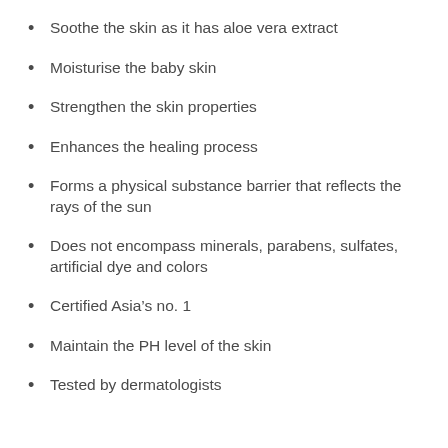Soothe the skin as it has aloe vera extract
Moisturise the baby skin
Strengthen the skin properties
Enhances the healing process
Forms a physical substance barrier that reflects the rays of the sun
Does not encompass minerals, parabens, sulfates, artificial dye and colors
Certified Asia’s no. 1
Maintain the PH level of the skin
Tested by dermatologists